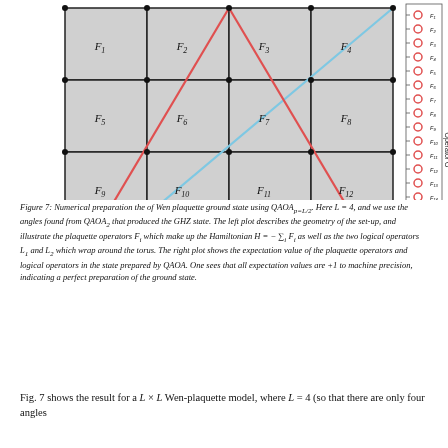[Figure (engineering-diagram): Left plot: 4x4 grid of plaquette operators F1-F16 on torus geometry with blue (L2) and red (L1) logical operator lines shown as diagonal lines crossing the grid. Black dots at vertices. Right plot: vertical bar chart / expectation value plot showing Operator O for F1 through F16, L1, L2, all marked with red circles at +1.]
Figure 7: Numerical preparation the of Wen plaquette ground state using QAOA_{p=L/2}. Here L=4, and we use the angles found from QAOA_2 that produced the GHZ state. The left plot describes the geometry of the set-up, and illustrate the plaquette operators F_i which make up the Hamiltonian H = -sum_i F_i as well as the two logical operators L_1 and L_2 which wrap around the torus. The right plot shows the expectation value of the plaquette operators and logical operators in the state prepared by QAOA. One sees that all expectation values are +1 to machine precision, indicating a perfect preparation of the ground state.
Fig. 7 shows the result for a L x L Wen-plaquette model, where L = 4 (so that there are only four angles